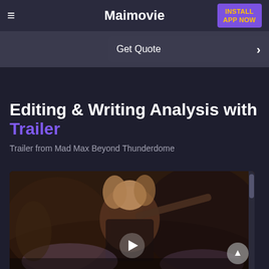Maimovie
INSTALL APP NOW
Get Quote
Editing & Writing Analysis with Trailer
Trailer from Mad Max Beyond Thunderdome
[Figure (screenshot): Video thumbnail showing a scene from Mad Max Beyond Thunderdome with a play button overlay and scroll button on the right side]